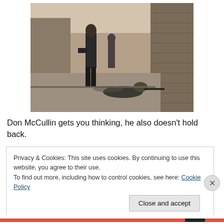[Figure (photo): Black and white photograph showing a street scene: a man in a dark suit walking on a pavement, and a soldier lying prone on the ground aiming a rifle near a brick wall.]
Don McCullin gets you thinking, he also doesn't hold back.
Privacy & Cookies: This site uses cookies. By continuing to use this website, you agree to their use.
To find out more, including how to control cookies, see here: Cookie Policy